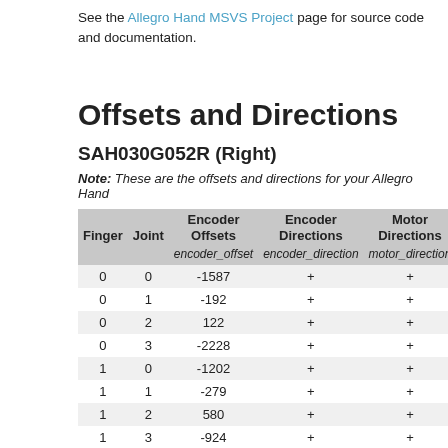See the Allegro Hand MSVS Project page for source code and documentation.
Offsets and Directions
SAH030G052R (Right)
Note: These are the offsets and directions for your Allegro Hand
| Finger | Joint | Encoder Offsets
encoder_offset | Encoder Directions
encoder_direction | Motor Directions
motor_direction |
| --- | --- | --- | --- | --- |
| 0 | 0 | -1587 | + | + |
| 0 | 1 | -192 | + | + |
| 0 | 2 | 122 | + | + |
| 0 | 3 | -2228 | + | + |
| 1 | 0 | -1202 | + | + |
| 1 | 1 | -279 | + | + |
| 1 | 2 | 580 | + | + |
| 1 | 3 | -924 | + | + |